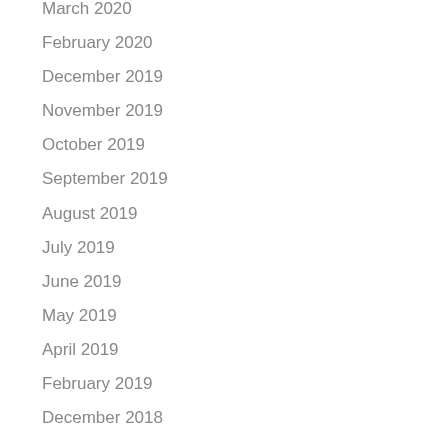March 2020
February 2020
December 2019
November 2019
October 2019
September 2019
August 2019
July 2019
June 2019
May 2019
April 2019
February 2019
December 2018